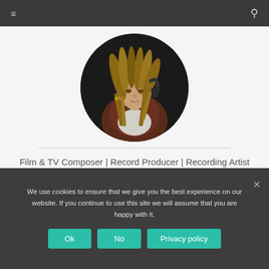≡  🔍
[Figure (photo): Circular profile photo of a person with dreadlocks looking downward, wearing headphones around neck and a white t-shirt]
Film & TV Composer | Record Producer | Recording Artist
[Figure (infographic): Social media icons row: Facebook (f), Twitter (bird), SoundCloud (cloud), Instagram (camera)]
We use cookies to ensure that we give you the best experience on our website. If you continue to use this site we will assume that you are happy with it.
Ok  No  Privacy policy